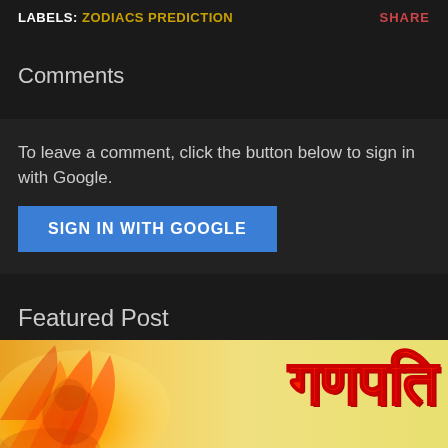LABELS: ZODIACS PREDICTION    SHARE
Comments
To leave a comment, click the button below to sign in with Google.
SIGN IN WITH GOOGLE
Featured Post
[Figure (illustration): Colorful Ganpati/Ganesha themed decorative image with orange, yellow and red tones with Hindi text 'गणपति' in red]